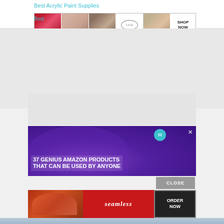Best Acrylic Paint Supplies
[Figure (advertisement): Ulta Beauty banner ad with makeup images (lips, brush, eye, logo, smoky eye) and SHOP NOW button]
Best
[Figure (advertisement): Gray placeholder ad box]
[Figure (advertisement): 37 Genius Amazon Products That Can Be Used By Anyone - headphones ad with teal circle badge showing 22 and X close button]
[Figure (other): CLOSE button overlay]
[Figure (advertisement): Seamless food delivery ad with pizza image, seamless logo, and ORDER NOW button]